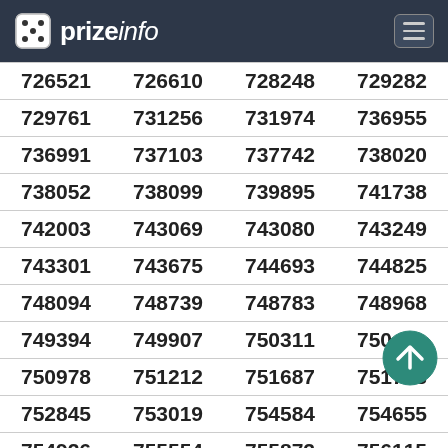prizeinfo
| 726521 | 726610 | 728248 | 729282 |
| 729761 | 731256 | 731974 | 736955 |
| 736991 | 737103 | 737742 | 738020 |
| 738052 | 738099 | 739895 | 741738 |
| 742003 | 743069 | 743080 | 743249 |
| 743301 | 743675 | 744693 | 744825 |
| 748094 | 748739 | 748783 | 748968 |
| 749394 | 749907 | 750311 | 750??? |
| 750978 | 751212 | 751687 | 751703 |
| 752845 | 753019 | 754584 | 754655 |
| 754926 | 755554 | 755872 | 756115 |
| 756361 | 756840 | 757818 | 758934 |